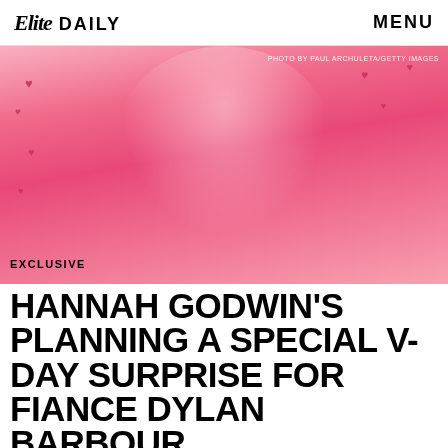Elite DAILY    MENU
[Figure (photo): Pink-toned photo of Hannah Godwin smiling, with decorative pink hearts in the background. Photo credit: PHOTO BY PAUL ARCHULETA/GETTY IMAGES]
PHOTO BY PAUL ARCHULETA/GETTY IMAGES
EXCLUSIVE
HANNAH GODWIN'S PLANNING A SPECIAL V-DAY SURPRISE FOR FIANCE DYLAN BARBOUR
Plus, the BIP alum is hosting a Galentine's Day trip giveaway to Miami.